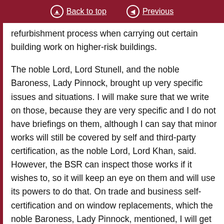Back to top   Previous
refurbishment process when carrying out certain building work on higher-risk buildings.
The noble Lord, Lord Stunell, and the noble Baroness, Lady Pinnock, brought up very specific issues and situations. I will make sure that we write on those, because they are very specific and I do not have briefings on them, although I can say that minor works will still be covered by self and third-party certification, as the noble Lord, Lord Khan, said. However, the BSR can inspect those works if it wishes to, so it will keep an eye on them and will use its powers to do that. On trade and business self-certification and on window replacements, which the noble Baroness, Lady Pinnock, mentioned, I will get a specific answer to noble Lords and put a